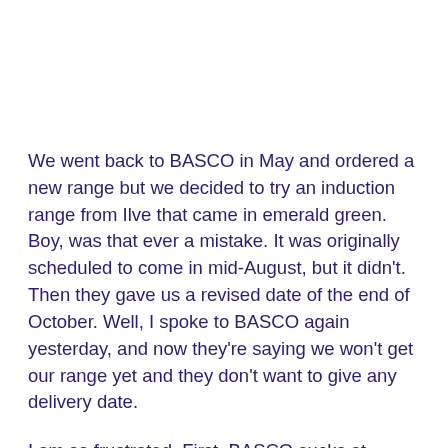We went back to BASCO in May and ordered a new range but we decided to try an induction range from Ilve that came in emerald green. Boy, was that ever a mistake. It was originally scheduled to come in mid-August, but it didn't. Then they gave us a revised date of the end of October. Well, I spoke to BASCO again yesterday, and now they're saying we won't get our range yet and they don't want to give any delivery date.
I am so frustrated. First, BASCO sucks at communication. They basically ignore the situation until I call in looking for my range and then they have to figure out what's happening. And two, what was I thinking ordering a semi-custom range during a pandemic? Sigh.
Anyway, it's not actually clear whether we'll have a range by